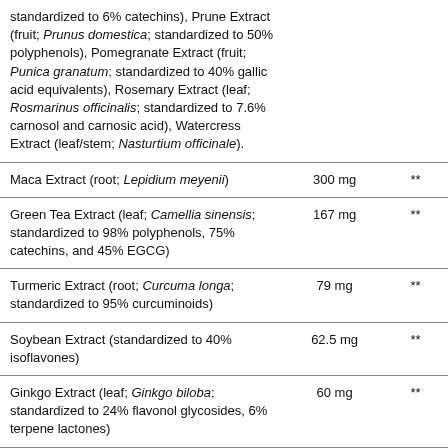| Ingredient | Amount | %DV |
| --- | --- | --- |
| standardized to 6% catechins), Prune Extract (fruit; Prunus domestica; standardized to 50% polyphenols), Pomegranate Extract (fruit; Punica granatum; standardized to 40% gallic acid equivalents), Rosemary Extract (leaf; Rosmarinus officinalis; standardized to 7.6% carnosol and carnosic acid), Watercress Extract (leaf/stem; Nasturtium officinale). |  |  |
| Maca Extract (root; Lepidium meyenii) | 300 mg | ** |
| Green Tea Extract (leaf; Camellia sinensis; standardized to 98% polyphenols, 75% catechins, and 45% EGCG) | 167 mg | ** |
| Turmeric Extract (root; Curcuma longa; standardized to 95% curcuminoids) | 79 mg | ** |
| Soybean Extract (standardized to 40% isoflavones) | 62.5 mg | ** |
| Ginkgo Extract (leaf; Ginkgo biloba; standardized to 24% flavonol glycosides, 6% terpene lactones) | 60 mg | ** |